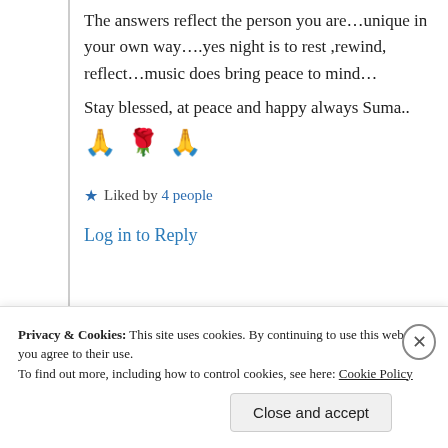The answers reflect the person you are…unique in your own way….yes night is to rest ,rewind, reflect…music does bring peace to mind…
Stay blessed, at peace and happy always Suma..
🙏 🌹 🙏
★ Liked by 4 people
Log in to Reply
Privacy & Cookies: This site uses cookies. By continuing to use this website, you agree to their use.
To find out more, including how to control cookies, see here: Cookie Policy
Close and accept